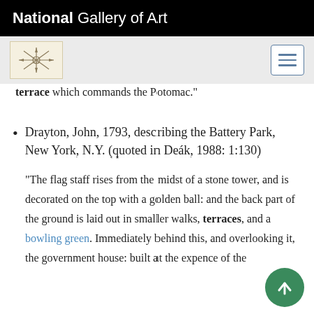National Gallery of Art
terrace which commands the Potomac."
Drayton, John, 1793, describing the Battery Park, New York, N.Y. (quoted in Deák, 1988: 1:130)
"The flag staff rises from the midst of a stone tower, and is decorated on the top with a golden ball: and the back part of the ground is laid out in smaller walks, terraces, and a bowling green. Immediately behind this, and overlooking it, the government house: built at the expence of the